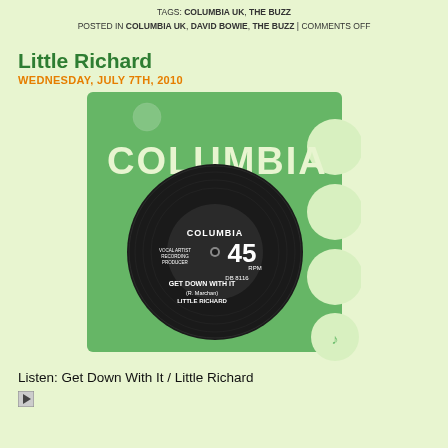TAGS: COLUMBIA UK, THE BUZZ
POSTED IN COLUMBIA UK, DAVID BOWIE, THE BUZZ | COMMENTS OFF
Little Richard
WEDNESDAY, JULY 7TH, 2010
[Figure (photo): A Columbia UK 45 RPM vinyl record 'Get Down With It' by Little Richard in a green Columbia Records sleeve with circular cutout windows on the right side and a music note logo at bottom right.]
Listen: Get Down With It / Little Richard